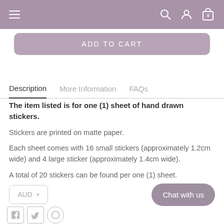Navigation bar with hamburger menu, search, account, and cart icons
ADD TO CART
Description | More Information | FAQs
The item listed is for one (1) sheet of hand drawn stickers.
Stickers are printed on matte paper.
Each sheet comes with 16 small stickers (approximately 1.2cm wide) and 4 large sticker (approximately 1.4cm wide).
A total of 20 stickers can be found per one (1) sheet.
AUD ▾
Chat with us